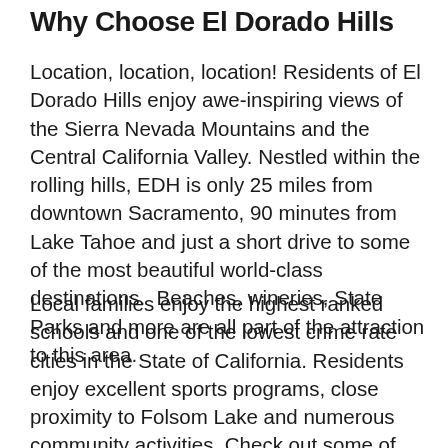Why Choose El Dorado Hills
Location, location, location! Residents of El Dorado Hills enjoy awe-inspiring views of the Sierra Nevada Mountains and the Central California Valley. Nestled within the rolling hills, EDH is only 25 miles from downtown Sacramento, 90 minutes from Lake Tahoe and just a short drive to some of the most beautiful world-class destinations.  Beaches, wineries, State Parks and more are all part of the attraction to this area.
Local families enjoy the highest ranked schools and one of the lowest crime rate cities in the State of California. Residents enjoy excellent sports programs, close proximity to Folsom Lake and numerous community activities. Check out some of the events listed in our Lifestyle Guide